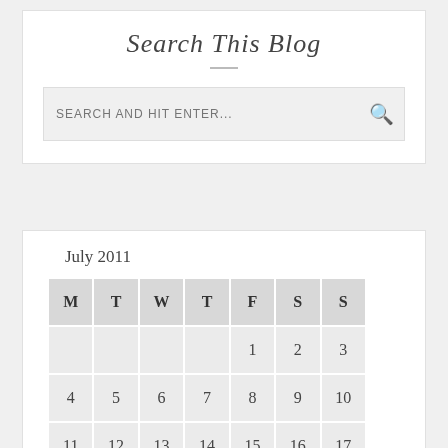Search This Blog
[Figure (other): Search input box with magnifying glass icon and placeholder text SEARCH AND HIT ENTER...]
| M | T | W | T | F | S | S |
| --- | --- | --- | --- | --- | --- | --- |
|  |  |  |  | 1 | 2 | 3 |
| 4 | 5 | 6 | 7 | 8 | 9 | 10 |
| 11 | 12 | 13 | 14 | 15 | 16 | 17 |